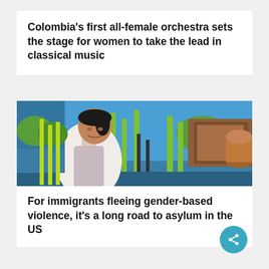Colombia's first all-female orchestra sets the stage for women to take the lead in classical music
[Figure (photo): A woman standing in front of a colorful playground with green poles and brown play structures on a sunny day]
For immigrants fleeing gender-based violence, it's a long road to asylum in the US